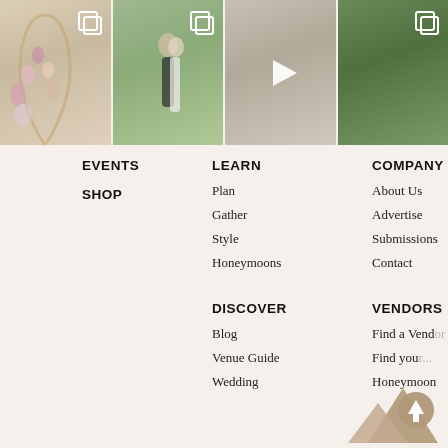[Figure (photo): Instagram-style photo strip with four wedding photos: floral arch, couple in field, couple kissing (video), bridesmaids]
EVENTS
SHOP
LEARN
Plan
Gather
Style
Honeymoons
COMPANY
About Us
Advertise
Submissions
Contact
DISCOVER
Blog
Venue Guide
Wedding
VENDORS
Find a Vendor
Find your...
Honeymoon
[Figure (illustration): Mountain silhouette with scroll-up arrow icon overlay, tan/brown color]